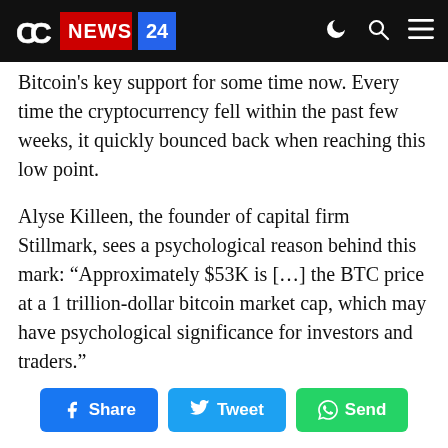CC NEWS 24
Bitcoin's key support for some time now. Every time the cryptocurrency fell within the past few weeks, it quickly bounced back when reaching this low point.
Alyse Killeen, the founder of capital firm Stillmark, sees a psychological reason behind this mark: “Approximately $53K is [...] the BTC price at a 1 trillion-dollar bitcoin market cap, which may have psychological significance for investors and traders.”